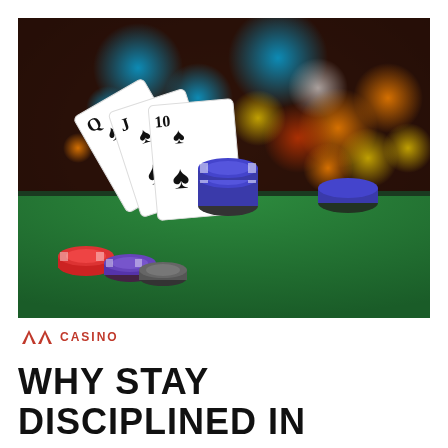[Figure (photo): A casino scene showing playing cards (Q, J, 10 of spades) fanned out on a green felt table with poker chips (blue, red, purple) and a blurred bokeh background with colorful lights in shades of blue, orange, and yellow.]
CASINO
WHY STAY DISCIPLINED IN